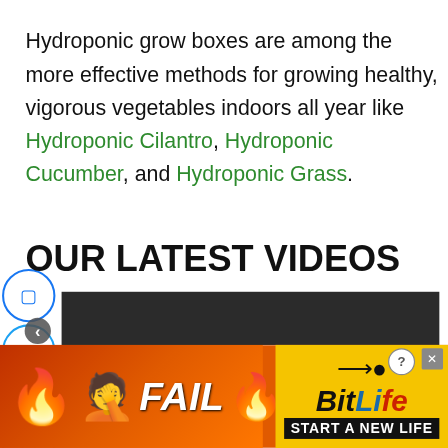Hydroponic grow boxes are among the more effective methods for growing healthy, vigorous vegetables indoors all year like Hydroponic Cilantro, Hydroponic Cucumber, and Hydroponic Grass.
OUR LATEST VIDEOS
[Figure (screenshot): Video player showing 'No compatible source was found for this media.' with partial text 'HOW TO FIX POTHOS' visible at bottom]
[Figure (screenshot): Advertisement banner for BitLife game showing 'FAIL' text, cartoon character, fire, and 'START A NEW LIFE' text on yellow/orange background]